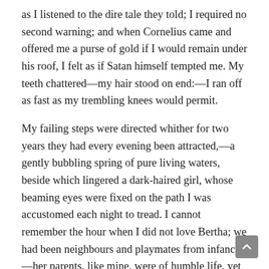as I listened to the dire tale they told; I required no second warning; and when Cornelius came and offered me a purse of gold if I would remain under his roof, I felt as if Satan himself tempted me. My teeth chattered—my hair stood on end:—I ran off as fast as my trembling knees would permit.
My failing steps were directed whither for two years they had every evening been attracted,—a gently bubbling spring of pure living waters, beside which lingered a dark-haired girl, whose beaming eyes were fixed on the path I was accustomed each night to tread. I cannot remember the hour when I did not love Bertha; we had been neighbours and playmates from infancy—her parents, like mine, were of humble life, yet respectable—our attachment had been a source of pleasure to them. In an evil hour, a malignant fever carried off both her father and mother, and Bertha became an orphan. She would have found a home beneath my paternal roof, but, unfortunately, the old lady of the